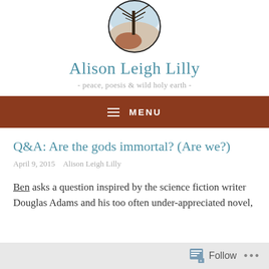[Figure (logo): Circular logo image with illustrated nature scene — tree branches, earth tones, blue and brown watercolor style]
Alison Leigh Lilly
- peace, poesis & wild holy earth -
MENU
Q&A: Are the gods immortal? (Are we?)
April 9, 2015   Alison Leigh Lilly
Ben asks a question inspired by the science fiction writer Douglas Adams and his too often under-appreciated novel,
Follow ...